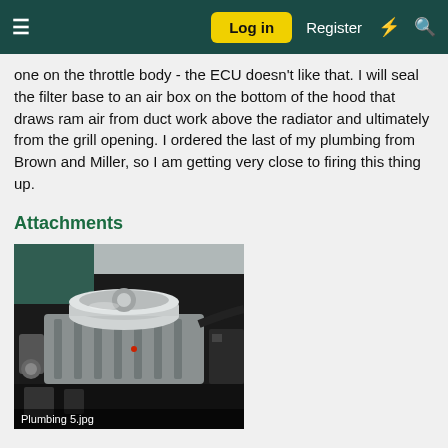≡  Log in  Register  ⚡  🔍
one on the throttle body - the ECU doesn't like that. I will seal the filter base to an air box on the bottom of the hood that draws ram air from duct work above the radiator and ultimately from the grill opening. I ordered the last of my plumbing from Brown and Miller, so I am getting very close to firing this thing up.
Attachments
[Figure (photo): Engine bay photo showing a chrome air filter on top of an engine with aluminum intake manifold and various components. Caption reads 'Plumbing 5.jpg']